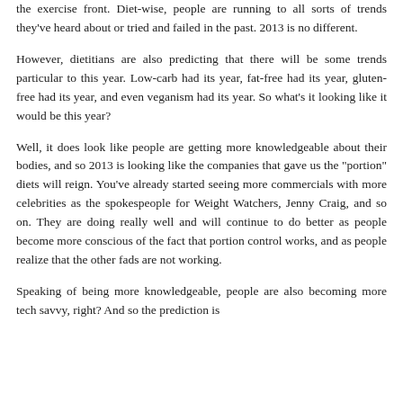the exercise front. Diet-wise, people are running to all sorts of trends they've heard about or tried and failed in the past. 2013 is no different.
However, dietitians are also predicting that there will be some trends particular to this year. Low-carb had its year, fat-free had its year, gluten-free had its year, and even veganism had its year. So what's it looking like it would be this year?
Well, it does look like people are getting more knowledgeable about their bodies, and so 2013 is looking like the companies that gave us the "portion" diets will reign. You've already started seeing more commercials with more celebrities as the spokespeople for Weight Watchers, Jenny Craig, and so on. They are doing really well and will continue to do better as people become more conscious of the fact that portion control works, and as people realize that the other fads are not working.
Speaking of being more knowledgeable, people are also becoming more tech savvy, right? And so the prediction is